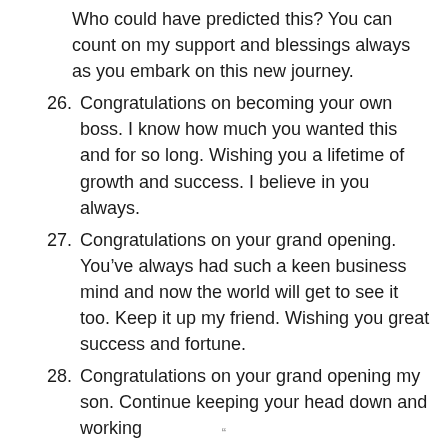Who could have predicted this? You can count on my support and blessings always as you embark on this new journey.
26. Congratulations on becoming your own boss. I know how much you wanted this and for so long. Wishing you a lifetime of growth and success. I believe in you always.
27. Congratulations on your grand opening. You’ve always had such a keen business mind and now the world will get to see it too. Keep it up my friend. Wishing you great success and fortune.
28. Congratulations on your grand opening my son. Continue keeping your head down and working